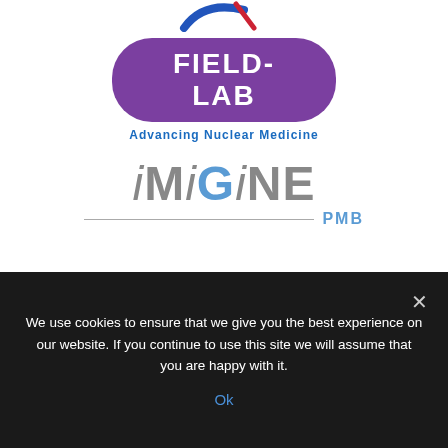[Figure (logo): Partial logo cropped at top of page (blue and red curved shapes)]
[Figure (logo): FIELD-LAB purple rounded badge logo with text 'Advancing Nuclear Medicine' in blue below]
[Figure (logo): iMiGiNE PMB logo in grey and blue with horizontal line separator]
[Figure (logo): Eckert & Ziegler logo with red/crimson geometric icon (rectangles and oval) and black text]
We use cookies to ensure that we give you the best experience on our website. If you continue to use this site we will assume that you are happy with it.
Ok